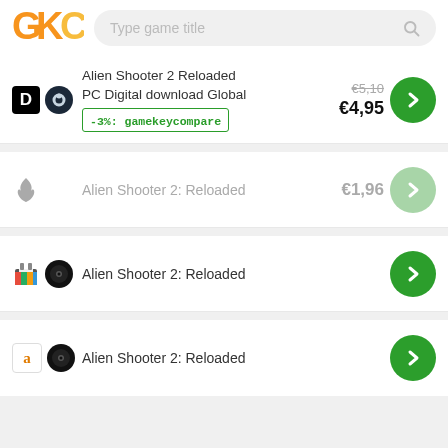[Figure (logo): GKC logo with orange and yellow letters]
Type game title
Alien Shooter 2 Reloaded PC Digital download Global | -3%: gamekeycompare | €5,10 strikethrough | €4,95
Alien Shooter 2: Reloaded | €1,96
Alien Shooter 2: Reloaded
Alien Shooter 2: Reloaded